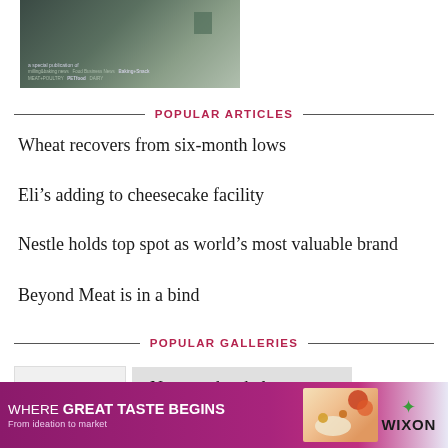[Figure (photo): Dark green/teal magazine or publication cover image with a small square graphic element and small text at bottom]
POPULAR ARTICLES
Wheat recovers from six-month lows
Eli’s adding to cheesecake facility
Nestle holds top spot as world’s most valuable brand
Beyond Meat is in a bind
POPULAR GALLERIES
[Figure (photo): Gallery thumbnail with chevron navigation and 'New on the shelves' text]
[Figure (infographic): Advertisement banner: WHERE GREAT TASTE BEGINS - From ideation to market - WIXON, with food images]